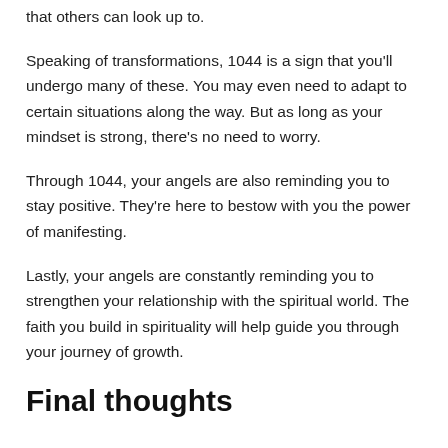that others can look up to.
Speaking of transformations, 1044 is a sign that you'll undergo many of these. You may even need to adapt to certain situations along the way. But as long as your mindset is strong, there's no need to worry.
Through 1044, your angels are also reminding you to stay positive. They're here to bestow with you the power of manifesting.
Lastly, your angels are constantly reminding you to strengthen your relationship with the spiritual world. The faith you build in spirituality will help guide you through your journey of growth.
Final thoughts